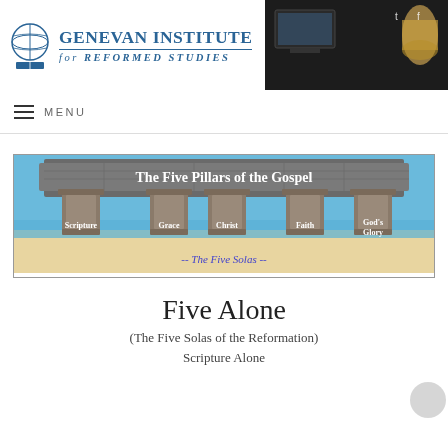[Figure (logo): Genevan Institute for Reformed Studies header banner with globe logo on white background and dark right side with tech/scroll imagery]
MENU
[Figure (illustration): The Five Pillars of the Gospel - five stone columns on a beach with labels: Scripture, Grace, Christ, Faith, God's Glory. Text: -- The Five Solas --]
Five Alone
(The Five Solas of the Reformation)
Scripture Alone